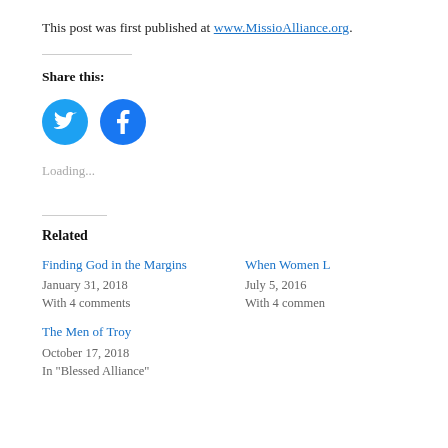This post was first published at www.MissioAlliance.org.
Share this:
[Figure (other): Twitter and Facebook social share buttons as blue circles with white icons]
Loading...
Related
Finding God in the Margins
January 31, 2018
With 4 comments
When Women L
July 5, 2016
With 4 commen
The Men of Troy
October 17, 2018
In "Blessed Alliance"